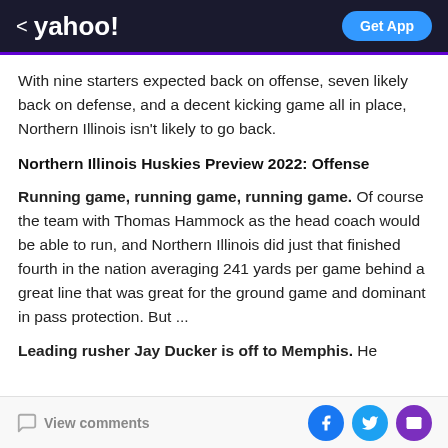< yahoo! | Get App
With nine starters expected back on offense, seven likely back on defense, and a decent kicking game all in place, Northern Illinois isn't likely to go back.
Northern Illinois Huskies Preview 2022: Offense
Running game, running game, running game. Of course the team with Thomas Hammock as the head coach would be able to run, and Northern Illinois did just that finished fourth in the nation averaging 241 yards per game behind a great line that was great for the ground game and dominant in pass protection. But ...
Leading rusher Jay Ducker is off to Memphis. He
View comments | Facebook | Twitter | Email